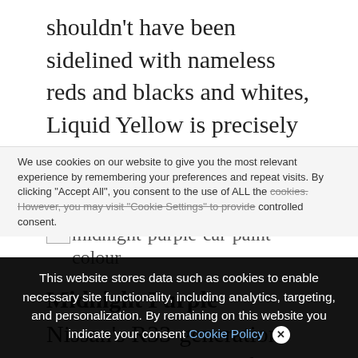shouldn't have been sidelined with nameless reds and blacks and whites, Liquid Yellow is precisely what a lunatic scorching hatch deserves.
[Figure (photo): Broken image placeholder with alt text 'midnight-purple-car-paint-colour']
Midnight Purple
Nissan's R33-generation Skyline GT-R was a fairly astonishing factor. Whereas the R32
We use cookies on our website to give you the most relevant experience by remembering your preferences and repeat visits. By clicking "Accept All", you consent to the use of ALL the controlled consent.
This website stores data such as cookies to enable necessary site functionality, including analytics, targeting, and personalization. By remaining on this website you indicate your consent Cookie Policy ✕